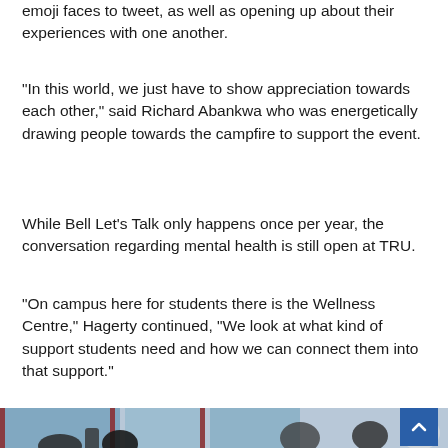emoji faces to tweet, as well as opening up about their experiences with one another.
“In this world, we just have to show appreciation towards each other,” said Richard Abankwa who was energetically drawing people towards the campfire to support the event.
While Bell Let’s Talk only happens once per year, the conversation regarding mental health is still open at TRU.
“On campus here for students there is the Wellness Centre,” Hagerty continued, “We look at what kind of support students need and how we can connect them into that support.”
[Figure (photo): Students gathered outdoors on campus, some bending over a table, others standing in winter jackets near a building with large windows.]